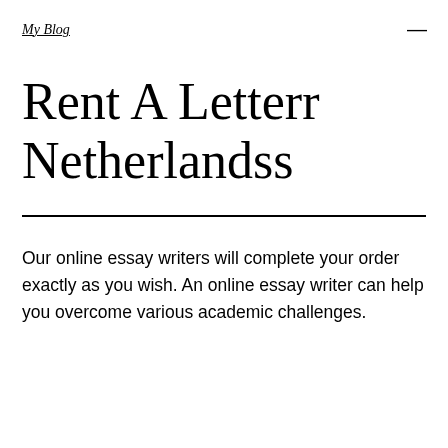My Blog
Rent A Letterr Netherlandss
Our online essay writers will complete your order exactly as you wish. An online essay writer can help you overcome various academic challenges.